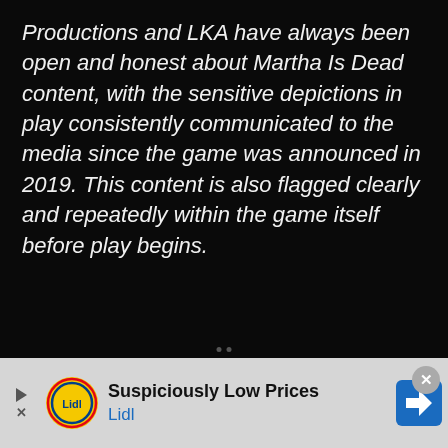Productions and LKA have always been open and honest about Martha Is Dead content, with the sensitive depictions in play consistently communicated to the media since the game was announced in 2019. This content is also flagged clearly and repeatedly within the game itself before play begins.
[Figure (other): Advertisement banner for Lidl featuring Lidl logo, text 'Suspiciously Low Prices' and 'Lidl', a blue directional arrow icon, and playback/close controls.]